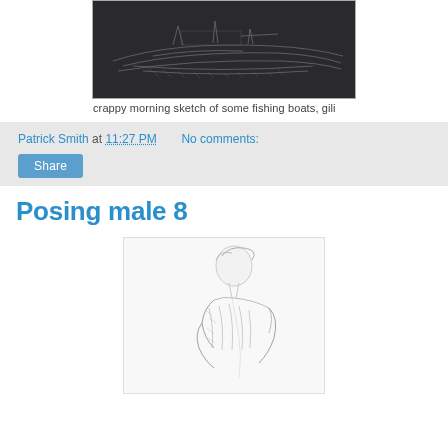[Figure (illustration): A dark sketch/drawing of fishing boats, rendered in pencil or charcoal on a dark background]
crappy morning sketch of some fishing boats, gili
Patrick Smith at 11:27 PM   No comments:
Share
Posing male 8
[Figure (illustration): A pencil sketch of a male figure in a posed position, upper body visible, looking to the side]